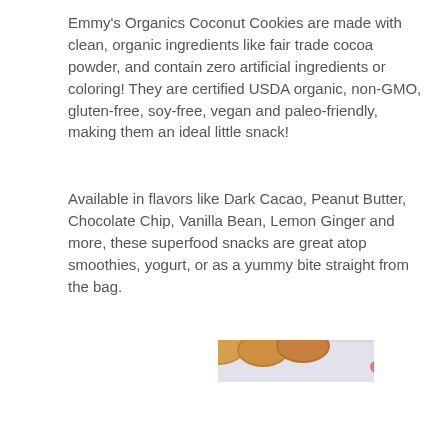Emmy's Organics Coconut Cookies are made with clean, organic ingredients like fair trade cocoa powder, and contain zero artificial ingredients or coloring! They are certified USDA organic, non-GMO, gluten-free, soy-free, vegan and paleo-friendly, making them an ideal little snack!
Available in flavors like Dark Cacao, Peanut Butter, Chocolate Chip, Vanilla Bean, Lemon Ginger and more, these superfood snacks are great atop smoothies, yogurt, or as a yummy bite straight from the bag.
[Figure (photo): Photo of multiple Emmy's Organics Coconut Cookie bags including Vanilla Bean and Dark Cacao flavors, displayed with cookies on a decorative plate in the foreground.]